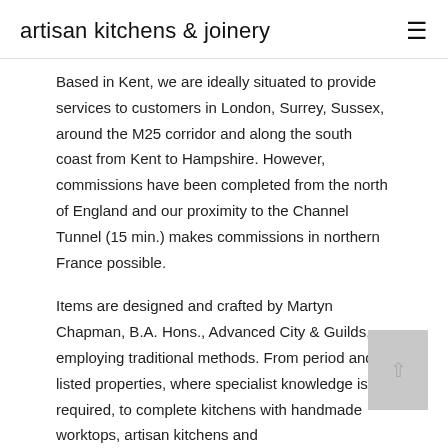artisan kitchens & joinery
Based in Kent, we are ideally situated to provide services to customers in London, Surrey, Sussex, around the M25 corridor and along the south coast from Kent to Hampshire. However, commissions have been completed from the north of England and our proximity to the Channel Tunnel (15 min.) makes commissions in northern France possible.
Items are designed and crafted by Martyn Chapman, B.A. Hons., Advanced City & Guilds, employing traditional methods. From period and listed properties, where specialist knowledge is required, to complete kitchens with handmade worktops, artisan kitchens and